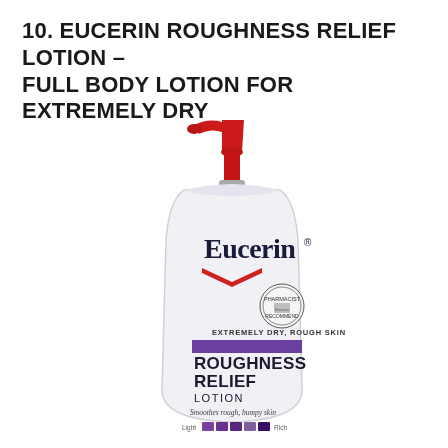10. EUCERIN ROUGHNESS RELIEF LOTION – FULL BODY LOTION FOR EXTREMELY DRY
[Figure (photo): Eucerin Roughness Relief Lotion bottle with red pump dispenser. The white bottle label reads 'Eucerin' in large dark blue serif font with a red chevron/arrow graphic below. Below that: 'EXTREMELY DRY, ROUGH SKIN' in small caps, then a purple/violet horizontal band, then 'ROUGHNESS RELIEF LOTION' in large bold dark text, then 'Smoothes rough, bumpy skin' in smaller text, then a Light-to-Rich scale with purple squares.]